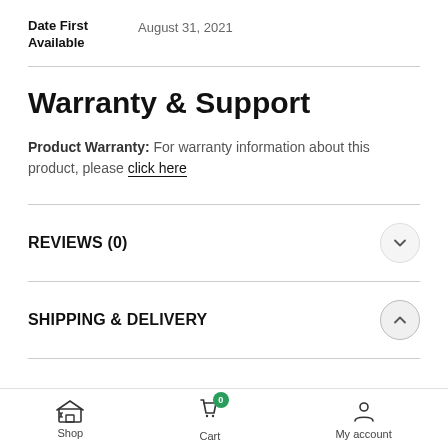Date First Available: August 31, 2021
Warranty & Support
Product Warranty: For warranty information about this product, please click here
REVIEWS (0)
SHIPPING & DELIVERY
Shop | Cart (0) | My account